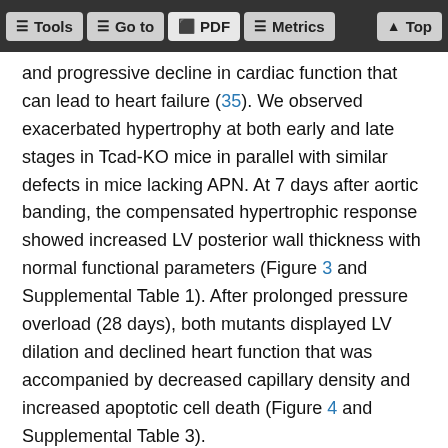Tools  Go to  PDF  Metrics  Top
and progressive decline in cardiac function that can lead to heart failure (35). We observed exacerbated hypertrophy at both early and late stages in Tcad-KO mice in parallel with similar defects in mice lacking APN. At 7 days after aortic banding, the compensated hypertrophic response showed increased LV posterior wall thickness with normal functional parameters (Figure 3 and Supplemental Table 1). After prolonged pressure overload (28 days), both mutants displayed LV dilation and declined heart function that was accompanied by decreased capillary density and increased apoptotic cell death (Figure 4 and Supplemental Table 3).
Vascularization plays an important role in maintaining the compensated hypertrophic